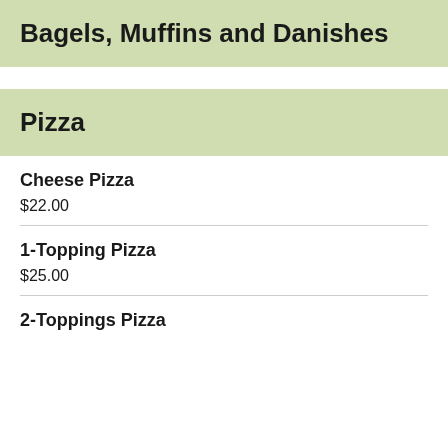Bagels, Muffins and Danishes
Pizza
Cheese Pizza
$22.00
1-Topping Pizza
$25.00
2-Toppings Pizza